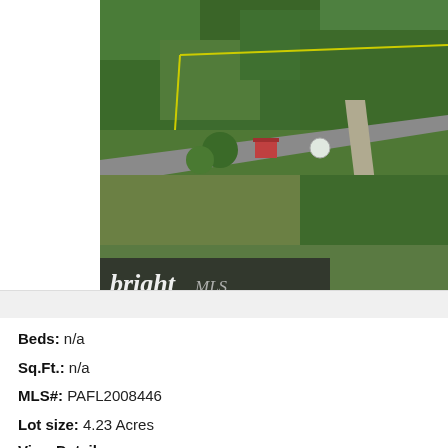[Figure (photo): Aerial satellite view of a rural property with trees, roads intersecting, and yellow boundary lines indicating lot, with a Bright MLS watermark in the lower left corner of the image]
Beds: n/a
Sq.Ft.: n/a
MLS#: PAFL2008446
Lot size: 4.23 Acres
View Details